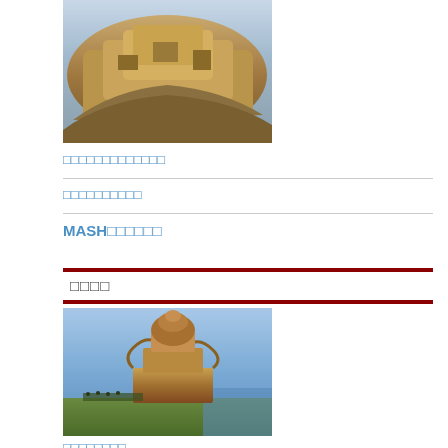[Figure (photo): Aerial view of an ancient rocky fortress or archaeological site, sandy brown colored rock formation]
□□□□□□□□□□□□□
□□□□□□□□□□
MASH□□□□□□
□□□□
[Figure (photo): Painting of the Tower of Babel - a tall spiraling tower in a landscape with many people at its base]
□□□□□□□□